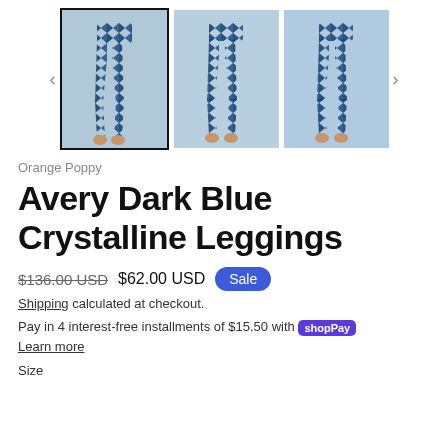[Figure (photo): Product gallery showing three thumbnail images of dark blue crystalline leggings worn by a model, with left and right navigation arrows. First thumbnail is selected with a black border.]
Orange Poppy
Avery Dark Blue Crystalline Leggings
$136.00 USD  $62.00 USD  Sale
Shipping calculated at checkout.
Pay in 4 interest-free installments of $15.50 with shop Pay
Learn more
Size